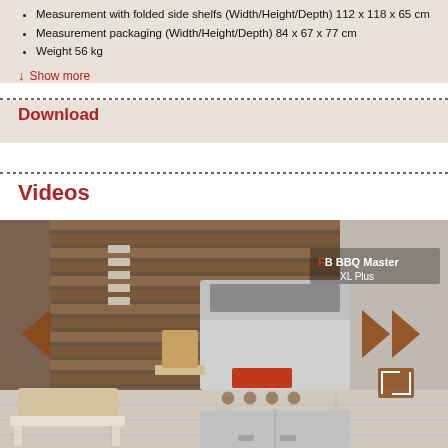Measurement with folded side shelfs (Width/Height/Depth) 112 x 118 x 65 cm
Measurement packaging (Width/Height/Depth) 84 x 67 x 77 cm
Weight 56 kg
↓ Show more
Download
Videos
[Figure (photo): BBQ Master XL Plus gas grill in an outdoor kitchen setting, with navigation arrows on left and right sides for a product image carousel. The grill is stainless steel with four burner knobs and cabinet below. A wooden cutting board and accessories are visible on the side shelf. Text overlay reads 'BBQ Master XL Plus'.]